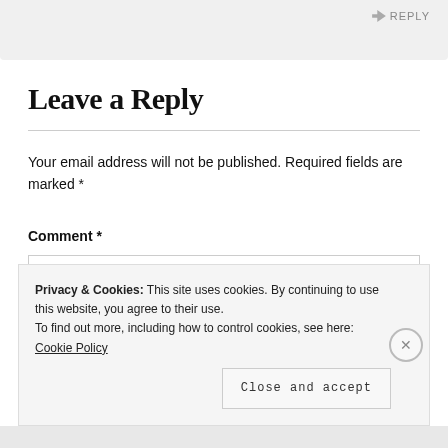[Figure (screenshot): Top grey bar with a REPLY button arrow on the right side]
Leave a Reply
Your email address will not be published. Required fields are marked *
Comment *
[Figure (screenshot): Empty comment text area input box]
Privacy & Cookies: This site uses cookies. By continuing to use this website, you agree to their use.
To find out more, including how to control cookies, see here: Cookie Policy
Close and accept